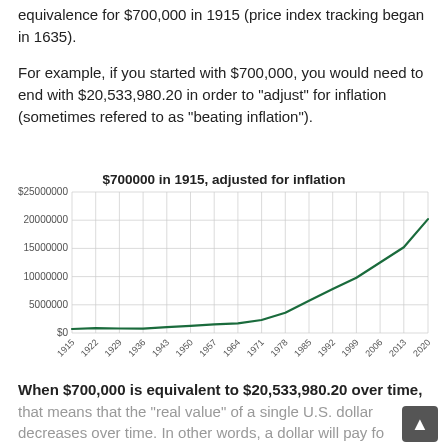equivalence for $700,000 in 1915 (price index tracking began in 1635).
For example, if you started with $700,000, you would need to end with $20,533,980.20 in order to "adjust" for inflation (sometimes refered to as "beating inflation").
[Figure (line-chart): $700000 in 1915, adjusted for inflation]
When $700,000 is equivalent to $20,533,980.20 over time, that means that the "real value" of a single U.S. dollar decreases over time. In other words, a dollar will pay fo